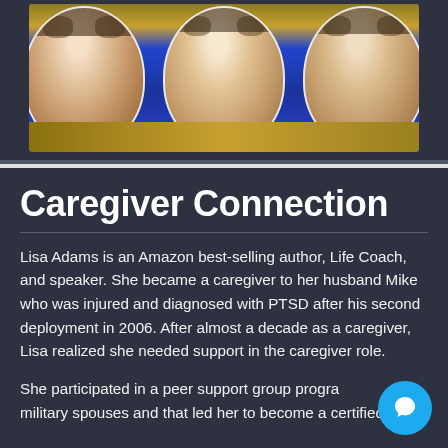[Figure (photo): Two smiling women shown in circular/oval portrait style photos against a blue and yellow/green background]
Caregiver Connection
Lisa Adams is an Amazon best-selling author, Life Coach, and speaker. She became a caregiver to her husband Mike who was injured and diagnosed with PTSD after his second deployment in 2006. After almost a decade as a caregiver, Lisa realized she needed support in the caregiver role.
She participated in a peer support group program for military spouses and that led her to become a certified